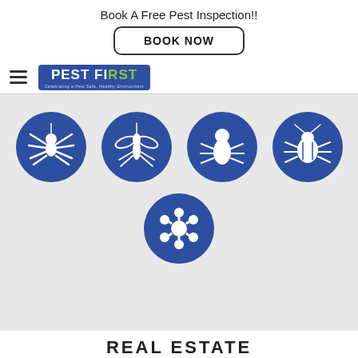Book A Free Pest Inspection!!
BOOK NOW
[Figure (logo): Pest First logo with blue background and green letter accents, subtitle text below]
[Figure (illustration): Five blue circle icons with white pest silhouettes: spider, mosquito, termite/louse, cockroach (top row), and mite/tick (bottom center)]
REAL ESTATE